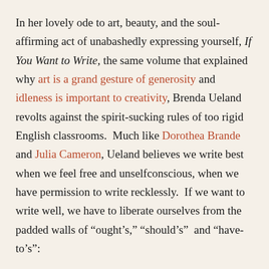In her lovely ode to art, beauty, and the soul-affirming act of unabashedly expressing yourself, If You Want to Write, the same volume that explained why art is a grand gesture of generosity and idleness is important to creativity, Brenda Ueland revolts against the spirit-sucking rules of too rigid English classrooms.  Much like Dorothea Brande and Julia Cameron, Ueland believes we write best when we feel free and unselfconscious, when we have permission to write recklessly.  If we want to write well, we have to liberate ourselves from the padded walls of “ought’s,” “should’s”  and “have-to’s”:
“Yes, you must feel when you write, free.  You must disentangle all oughts.  You must disconnect all shackles, weights, obligations, all duties.  You can write as badly as you want to.  You can write